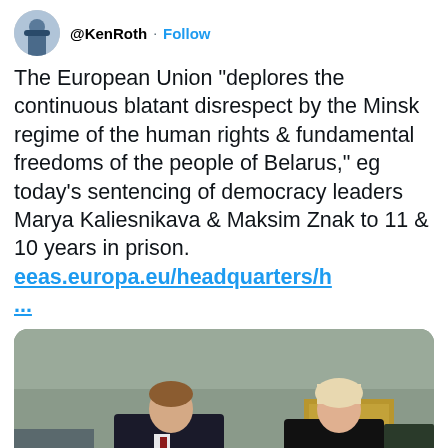[Figure (screenshot): Twitter/X profile avatar of KenRoth — a man in a suit, circular crop]
@KenRoth · Follow
The European Union "deplores the continuous blatant disrespect by the Minsk regime of the human rights & fundamental freedoms of the people of Belarus," eg today's sentencing of democracy leaders Marya Kaliesnikava & Maksim Znak to 11 & 10 years in prison. eeas.europa.eu/headquarters/h …
[Figure (photo): A man in a dark suit with red tie and a woman in a black dress standing in front of a building, speaking to microphones held by reporters]